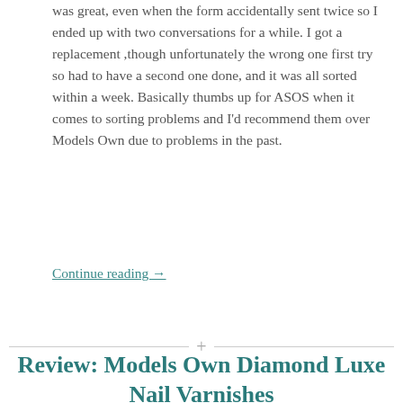was great, even when the form accidentally sent twice so I ended up with two conversations for a while. I got a replacement ,though unfortunately the wrong one first try so had to have a second one done, and it was all sorted within a week. Basically thumbs up for ASOS when it comes to sorting problems and I'd recommend them over Models Own due to problems in the past.
Continue reading →
Review: Models Own Diamond Luxe Nail Varnishes
october 3, 2016 · thoughtfulpigeon · beauty collection diamond luxe emerald green first impressions half price models own nail polish nail varnish offer pear purple review tesco trillion taupe · leave a comment
[Figure (photo): Photo of nail varnish bottles with metallic/shiny finish against a purple background]